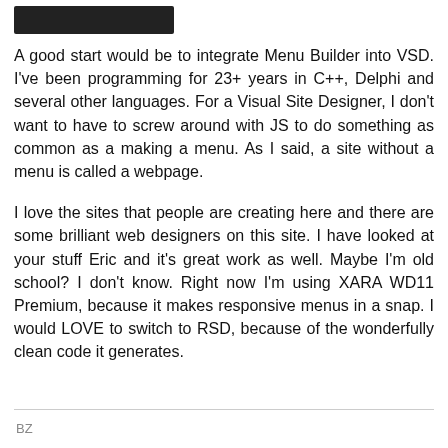[Figure (photo): Redacted/blacked-out avatar or username bar at top left]
A good start would be to integrate Menu Builder into VSD. I've been programming for 23+ years in C++, Delphi and several other languages. For a Visual Site Designer, I don't want to have to screw around with JS to do something as common as a making a menu. As I said, a site without a menu is called a webpage.
I love the sites that people are creating here and there are some brilliant web designers on this site. I have looked at your stuff Eric and it's great work as well. Maybe I'm old school? I don't know. Right now I'm using XARA WD11 Premium, because it makes responsive menus in a snap. I would LOVE to switch to RSD, because of the wonderfully clean code it generates.
BZ